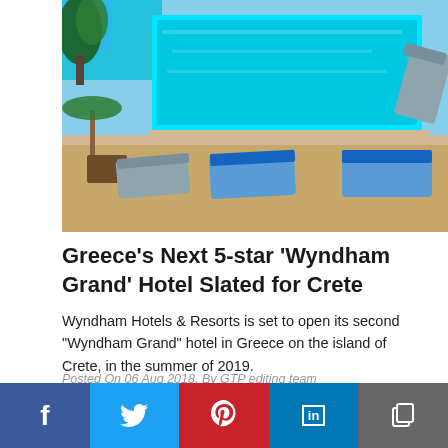[Figure (photo): Hotel pool with lounge chairs on a sunny terrace overlooking the sea in Crete, Greece]
Greece’s Next 5-star ‘Wyndham Grand’ Hotel Slated for Crete
Wyndham Hotels & Resorts is set to open its second "Wyndham Grand" hotel in Greece on the island of Crete, in the summer of 2019.
Posted On 06 Aug 2018, By GTP editing team
[Figure (photo): Partial view of hotel building with blue sky and olive tree branch]
Facebook Twitter Pinterest LinkedIn Copy